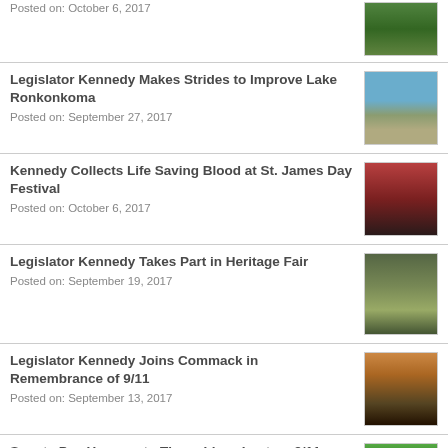Posted on: October 6, 2017
Legislator Kennedy Makes Strides to Improve Lake Ronkonkoma
Posted on: September 27, 2017
Kennedy Collects Life Saving Blood at St. James Day Festival
Posted on: October 6, 2017
Legislator Kennedy Takes Part in Heritage Fair
Posted on: September 19, 2017
Legislator Kennedy Joins Commack in Remembrance of 9/11
Posted on: September 13, 2017
Scouts Pay Homage to Those Lives Lost on 9/11
Posted on: September 15, 2017